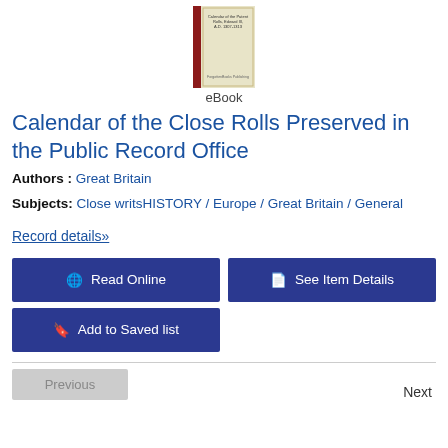[Figure (illustration): Book cover thumbnail of 'Calendar of the Close Rolls, Edward III, A.D. 1307-1313' with cream/tan cover and dark red spine, published by ForgottenBooks Publishing]
eBook
Calendar of the Close Rolls Preserved in the Public Record Office
Authors : Great Britain
Subjects: Close writsHISTORY / Europe / Great Britain / General
Record details»
🌐 Read Online
📄 See Item Details
🔖 Add to Saved list
Previous
Next